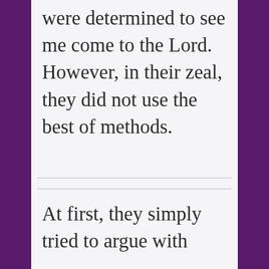were determined to see me come to the Lord.  However, in their zeal, they did not use the best of methods.
At first, they simply tried to argue with